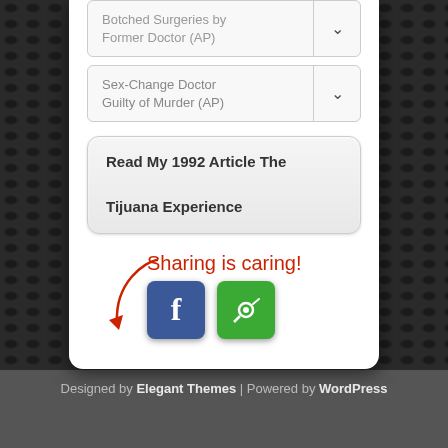Botched Surgeries by Former Doctor (AP)
Sex-Change Doctor Guilty of Murder (AP)
Read My 1992 Article The Tijuana Experience
[Figure (infographic): Handwritten red text 'Sharing is caring!' with a curved arrow pointing to social share buttons (Facebook and a share icon)]
Designed by Elegant Themes | Powered by WordPress